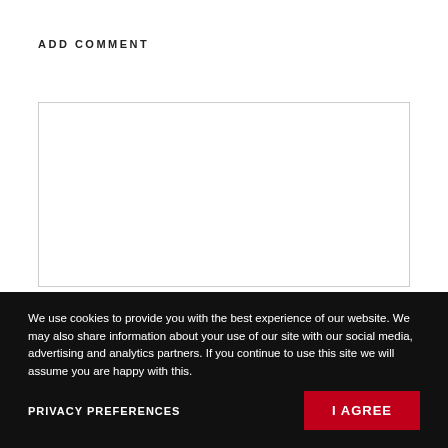ADD COMMENT
We use cookies to provide you with the best experience of our website. We may also share information about your use of our site with our social media, advertising and analytics partners. If you continue to use this site we will assume you are happy with this.
Name *
Email *
Privacy Preferences
I Agree